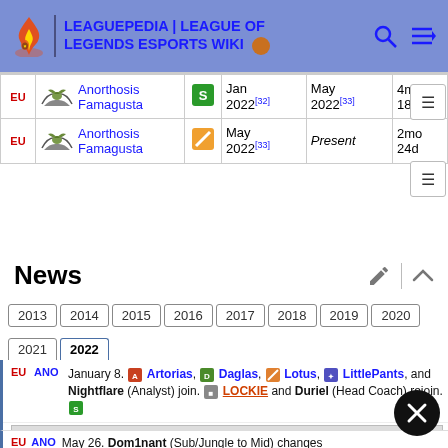LEAGUEPEDIA | LEAGUE OF LEGENDS ESPORTS WIKI
| Region | Team | Role | Start | End | Duration |
| --- | --- | --- | --- | --- | --- |
| EU | Anorthosis Famagusta | S | Jan 2022[32] | May 2022[33] | 4mo 18d |
| EU | Anorthosis Famagusta | (orange slash) | May 2022[33] | Present | 2mo 24d |
News
2013 2014 2015 2016 2017 2018 2019 2020 2021 2022
January 8. Artorias, Daglas, Lotus, LittlePants, and Nightflare (Analyst) join. LOCKIE and Duriel (Head Coach) rejoin.
May 26. Dom1nant (Sub/Jungle to Mid) changes